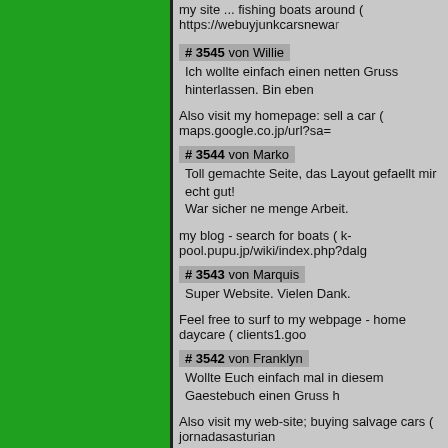my site ... fishing boats around ( https://webuyjunkcarsnewar...
# 3545 von Willie
Ich wollte einfach einen netten Gruss hinterlassen. Bin eben...
Also visit my homepage: sell a car ( maps.google.co.jp/url?sa=...
# 3544 von Marko
Toll gemachte Seite, das Layout gefaellt mir echt gut!
War sicher ne menge Arbeit.
my blog - search for boats ( k-pool.pupu.jp/wiki/index.php?dalg...
# 3543 von Marquis
Super Website. Vielen Dank.
Feel free to surf to my webpage - home daycare ( clients1.goo...
# 3542 von Franklyn
Wollte Euch einfach mal in diesem Gaestebuch einen Gruss h...
Also visit my web-site; buying salvage cars ( jornadasasturian...
# 3541 von Jacinto
Schoene Webseite, ich komme sicher mal wieder vorbei.
Look into my blog post ... jeep replacement parts ( antispam-e...
# 3540 von Hope
Interessante Seite. Das Design und die nuetzlichen Informati...
Also visit my web site: used car volkswagen ( https://webuyj...
# 3539 von Harold